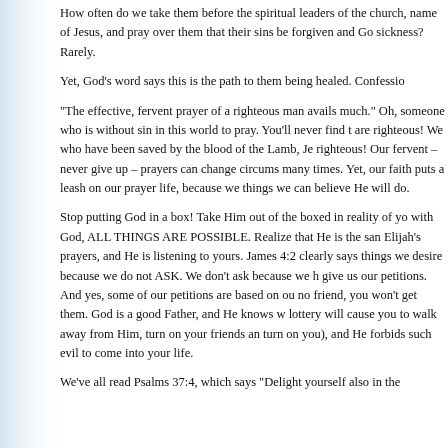How often do we take them before the spiritual leaders of the church, name of Jesus, and pray over them that their sins be forgiven and God sickness? Rarely.
Yet, God's word says this is the path to them being healed. Confessio
“The effective, fervent prayer of a righteous man avails much.” Oh, someone who is without sin in this world to pray. You’ll never find th are righteous! We who have been saved by the blood of the Lamb, Je righteous! Our fervent – never give up – prayers can change circums many times. Yet, our faith puts a leash on our prayer life, because we things we can believe He will do.
Stop putting God in a box! Take Him out of the boxed in reality of yo with God, ALL THINGS ARE POSSIBLE. Realize that He is the sam Elijah’s prayers, and He is listening to yours. James 4:2 clearly says things we desire because we do not ASK. We don’t ask because we h give us our petitions. And yes, some of our petitions are based on ou no friend, you won’t get them. God is a good Father, and He knows v lottery will cause you to walk away from Him, turn on your friends ar turn on you), and He forbids such evil to come into your life.
We’ve all read Psalms 37:4, which says “Delight yourself also in the